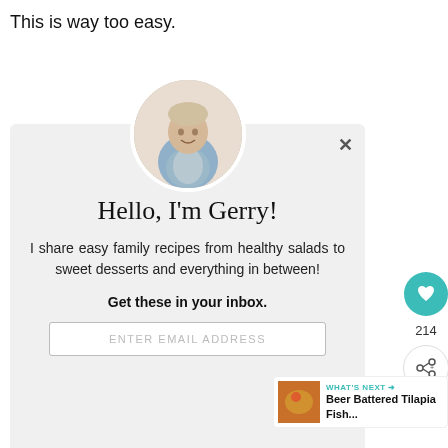This is way too easy.
[Figure (screenshot): A newsletter/email signup modal popup on a recipe website. Shows a circular avatar photo of a man (Gerry) in a kitchen wearing an apron, with headline 'Hello, I'm Gerry!', descriptive text, email input field, and a green 'SEND ME UPDATES' button. Right side shows a heart icon with 214 count, share icon. Bottom right shows 'WHAT'S NEXT' teaser for 'Beer Battered Tilapia Fish...']